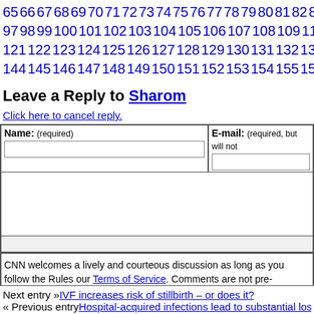65 66 67 68 69 70 71 72 73 74 75 76 77 78 79 80 81 82 83 84 85 86 97 98 99 100 101 102 103 104 105 106 107 108 109 110 111 112 113 121 122 123 124 125 126 127 128 129 130 131 132 133 134 135 136 144 145 146 147 148 149 150 151 152 153 154 155 156 157 158 159
Leave a Reply to Sharom
Click here to cancel reply.
| Name: (required) | E-mail: (required, but will not...) |
| --- | --- |
CNN welcomes a lively and courteous discussion as long as you follow the Rules our Terms of Service. Comments are not pre-screened before they post. You agree may be used, along with your name and profile picture, in accordance with our Pri license you have granted pursuant to our Terms of Service.
Next entry »IVF increases risk of stillbirth – or does it?
« Previous entryHospital-acquired infections lead to substantial loss